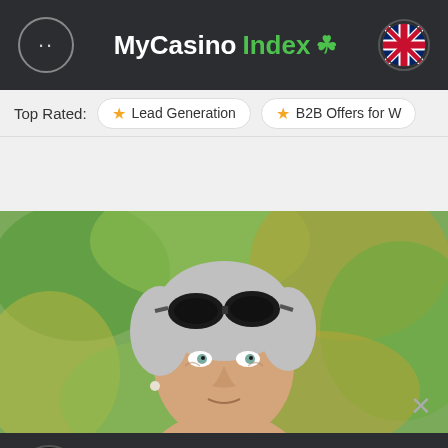MyCasinoIndex
Top Rated: Lead Generation  B2B Offers for W...
[Figure (photo): Portrait photo of an older woman with short silver/grey hair and sunglasses on top of her head, outdoors with green foliage background]
100% + 100 FS in Platinum Lightning Deluxe by BGAMING
Visit